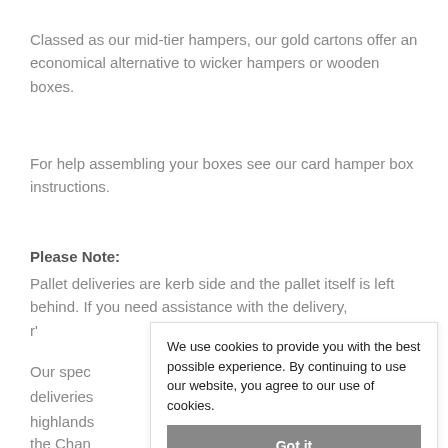Classed as our mid-tier hampers, our gold cartons offer an economical alternative to wicker hampers or wooden boxes.
For help assembling your boxes see our card hamper box instructions.
Please Note:
Pallet deliveries are kerb side and the pallet itself is left behind. If you need assistance with the delivery, r' [obscured] team to c [obscured]
We use cookies to provide you with the best possible experience. By continuing to use our website, you agree to our use of cookies.
Our spec deliveries highland: the Chan
would love to be able to offer special pricing to all